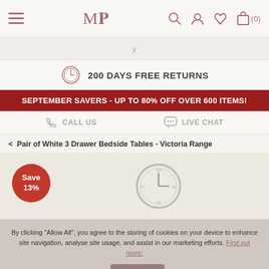MP logo with navigation icons: hamburger menu, logo, search, account, wishlist, cart (0)
200 DAYS FREE RETURNS
SEPTEMBER SAVERS - UP TO 80% OFF OVER 600 ITEMS!
CALL US   LIVE CHAT
< Pair of White 3 Drawer Bedside Tables - Victoria Range
[Figure (photo): Product image with Save 13% badge overlay showing bedroom furniture, a clock on the wall, and decorative items]
By clicking "Allow All", you agree to the storing of cookies on your device to enhance site navigation, analyse site usage, and assist in our marketing efforts. Find out more.
Allow All
Manage Cookies